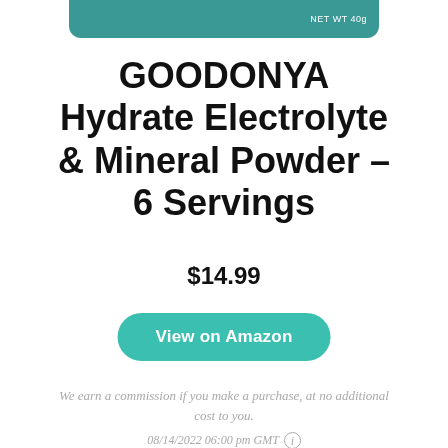[Figure (photo): Partial product image — teal/green product label top bar with 'NET WT 40g' text visible]
GOODONYA Hydrate Electrolyte & Mineral Powder – 6 Servings
$14.99
View on Amazon
We earn a commission if you make a purchase, at no additional cost to you.
08/14/2022 06:00 pm GMT ⓘ